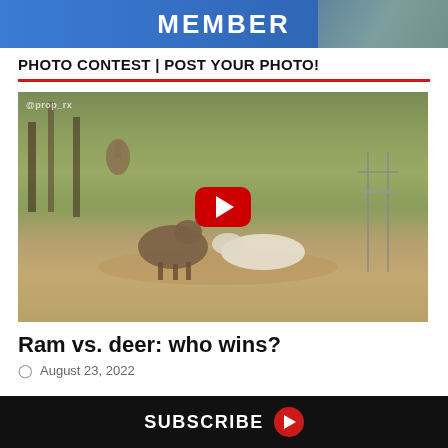[Figure (illustration): Blue banner advertisement with white text 'MEMBER' and fish image on right side]
PHOTO CONTEST | POST YOUR PHOTO!
[Figure (screenshot): YouTube video thumbnail showing a ram attacking a deer on a grassy field, with deer visible in background and hunting stand on the right. Red YouTube play button overlay in center. Watermark text in top left corner.]
Ram vs. deer: who wins?
August 23, 2022
SUBSCRIBE